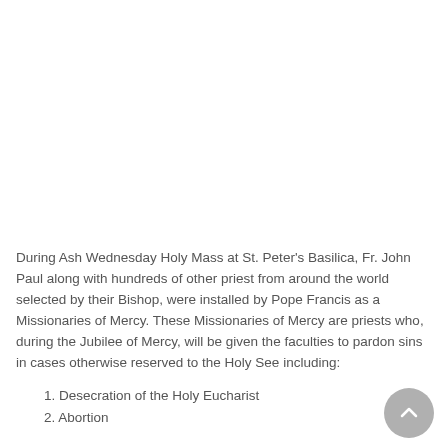During Ash Wednesday Holy Mass at St. Peter's Basilica, Fr. John Paul along with hundreds of other priest from around the world selected by their Bishop, were installed by Pope Francis as a Missionaries of Mercy. These Missionaries of Mercy are priests who, during the Jubilee of Mercy, will be given the faculties to pardon sins in cases otherwise reserved to the Holy See including:
1. Desecration of the Holy Eucharist
2. Abortion